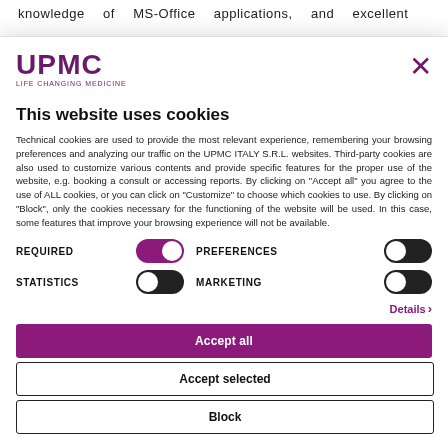knowledge of MS-Office applications, and excellent
[Figure (logo): UPMC Life Changing Medicine logo in purple]
This website uses cookies
Technical cookies are used to provide the most relevant experience, remembering your browsing preferences and analyzing our traffic on the UPMC ITALY S.R.L. websites. Third-party cookies are also used to customize various contents and provide specific features for the proper use of the website, e.g. booking a consult or accessing reports. By clicking on "Accept all" you agree to the use of ALL cookies, or you can click on "Customize" to choose which cookies to use. By clicking on "Block", only the cookies necessary for the functioning of the website will be used. In this case, some features that improve your browsing experience will not be available.
REQUIRED (toggle on) | PREFERENCES (toggle off) | STATISTICS (toggle off) | MARKETING (toggle off)
Details >
Accept all
Accept selected
Block